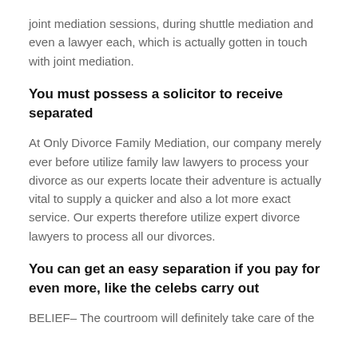joint mediation sessions, during shuttle mediation and even a lawyer each, which is actually gotten in touch with joint mediation.
You must possess a solicitor to receive separated
At Only Divorce Family Mediation, our company merely ever before utilize family law lawyers to process your divorce as our experts locate their adventure is actually vital to supply a quicker and also a lot more exact service. Our experts therefore utilize expert divorce lawyers to process all our divorces.
You can get an easy separation if you pay for even more, like the celebs carry out
BELIEF– The courtroom will definitely take care of the